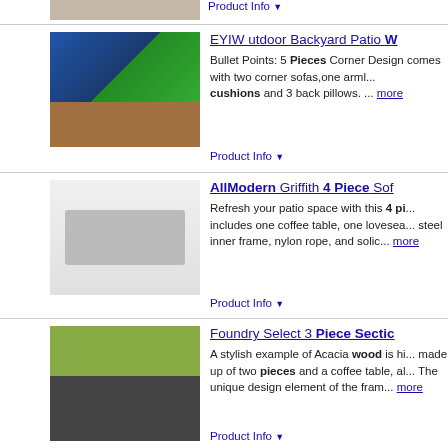[Figure (photo): Outdoor patio furniture product image (partial, top of page)]
Product Info ▼
EYIW utdoor Backyard Patio W...
[Figure (photo): EYIW outdoor patio furniture with blue cushions and wood frame near pool]
Bullet Points: 5 Pieces Corner Design comes with two corner sofas,one armless sofas, cushions and 3 back pillows. ... more
Product Info ▼
AllModern Griffith 4 Piece Sofa...
[Figure (photo): AllModern Griffith 4 Piece outdoor sofa set in grey on white background]
Refresh your patio space with this 4 piece set. It includes one coffee table, one loveseat, steel inner frame, nylon rope, and solid... more
Product Info ▼
Foundry Select 3 Piece Sectio...
[Figure (photo): Foundry Select 3 piece sectional sofa set with dark cushions and wood coffee table on grass]
A stylish example of Acacia wood is hi... made up of two pieces and a coffee table, al... The unique design element of the fram... more
Product Info ▼
Arlmont & Co. Io 4 Piece Teak...
[Figure (photo): Arlmont & Co. Io 4 Piece Teak outdoor seating set with red chairs on patio]
With an Eilis deep seating set, you ca... with friends and family. So snuggle up... Loveseat and see how often you find y... ... more
Product Info ▼